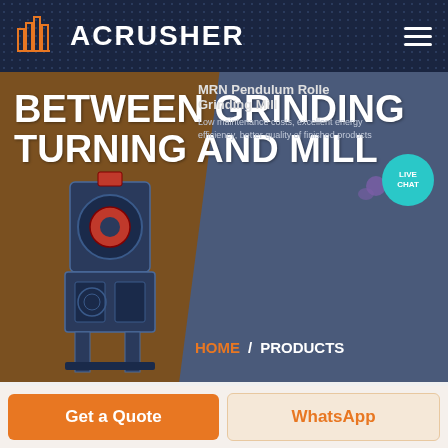ACRUSHER
BETWEEN GRINDING TURNING AND MILL
[Figure (screenshot): Website screenshot showing ACRUSHER brand header with logo, navigation, hero banner with industrial grinding machine image, breadcrumb navigation HOME / PRODUCTS, and product card showing MRN Pendulum Roller Grinding Mill with description about low maintenance costs, excellent energy efficiency and better quality of finished products. Live Chat bubble visible in top right of hero.]
HOME / PRODUCTS
MRN Pendulum Roller Grinding Mill
Low maintenance costs, excellent energy efficiency, better quality of finished products
Get a Quote
WhatsApp